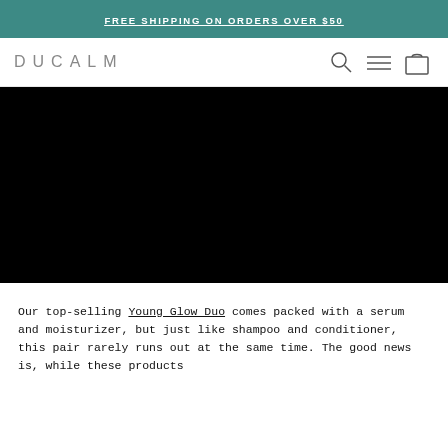FREE SHIPPING ON ORDERS OVER $50
[Figure (logo): DUCALM brand logo text in grey spaced letters, with search, menu, and bag icons on the right]
[Figure (photo): Large black hero image area]
Our top-selling Young Glow Duo comes packed with a serum and moisturizer, but just like shampoo and conditioner, this pair rarely runs out at the same time. The good news is, while these products